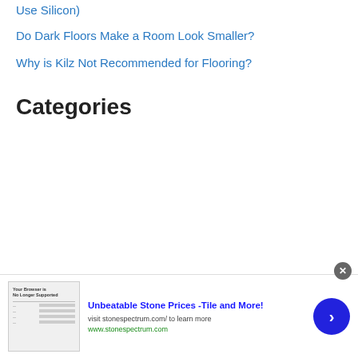Use Silicon)
Do Dark Floors Make a Room Look Smaller?
Why is Kilz Not Recommended for Flooring?
Categories
[Figure (other): Advertisement banner for Stone Spectrum with image thumbnail, headline 'Unbeatable Stone Prices -Tile and More!', subtext 'visit stonespectrum.com/ to learn more', URL 'www.stonespectrum.com', close button, and arrow navigation button]